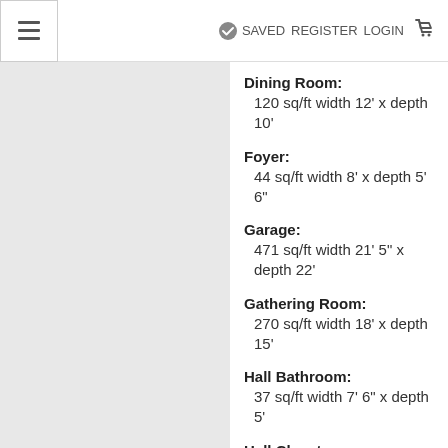≡  ✓ SAVED  REGISTER  LOGIN  🛒
Dining Room: 120 sq/ft width 12' x depth 10'
Foyer: 44 sq/ft width 8' x depth 5' 6"
Garage: 471 sq/ft width 21' 5" x depth 22'
Gathering Room: 270 sq/ft width 18' x depth 15'
Hall Bathroom: 37 sq/ft width 7' 6" x depth 5'
Hall Closet: 5 sq/ft width 2' 8" x depth